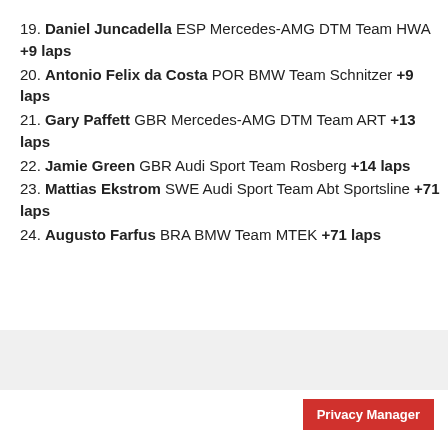19. Daniel Juncadella ESP Mercedes-AMG DTM Team HWA +9 laps
20. Antonio Felix da Costa POR BMW Team Schnitzer +9 laps
21. Gary Paffett GBR Mercedes-AMG DTM Team ART +13 laps
22. Jamie Green GBR Audi Sport Team Rosberg +14 laps
23. Mattias Ekstrom SWE Audi Sport Team Abt Sportsline +71 laps
24. Augusto Farfus BRA BMW Team MTEK +71 laps
Privacy Manager